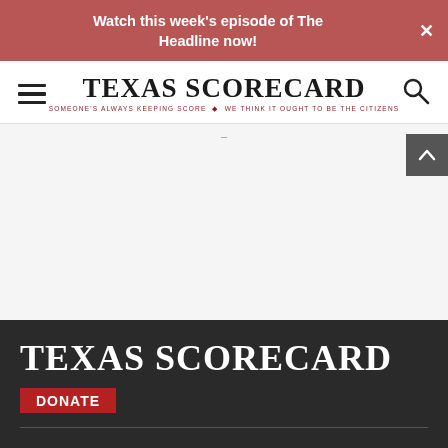Watch this week's episode of The Headline now!
[Figure (logo): Texas Scorecard logo with hamburger menu on left and search icon on right. Logo text reads TEXAS SCORECARD with tagline SOMEONE'S ALWAYS KEEPING SCORE WE THINK IT OUGHT TO BE THE CITIZENS]
TEXAS SCORECARD
DONATE